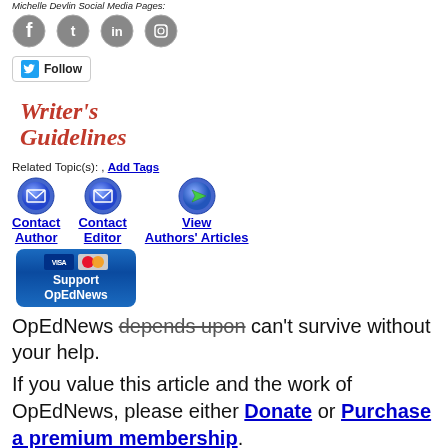Michelle Devlin Social Media Pages:
[Figure (illustration): Four social media icons: Facebook, Twitter, LinkedIn, Instagram]
[Figure (illustration): Twitter Follow button with bird icon]
[Figure (illustration): Writer's Guidelines logo in red italic script]
Related Topic(s): , Add Tags
[Figure (illustration): Contact Author icon (envelope)]
[Figure (illustration): Contact Editor icon (envelope)]
[Figure (illustration): View Authors' Articles icon (green arrow)]
[Figure (illustration): Support OpEdNews button with Visa and MasterCard logos]
OpEdNews depends upon can't survive without your help.
If you value this article and the work of OpEdNews, please either Donate or Purchase a premium membership.